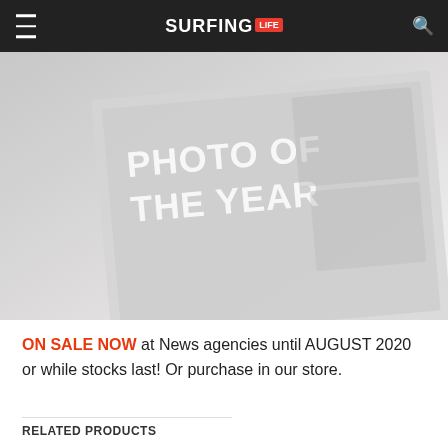SURFING LIFE
[Figure (photo): Angled magazine cover showing 'PHOTO OF THE YEAR' text on a surfing magazine, faded/washed out appearance]
ON SALE NOW at News agencies until AUGUST 2020 or while stocks last! Or purchase in our store.
RELATED PRODUCTS